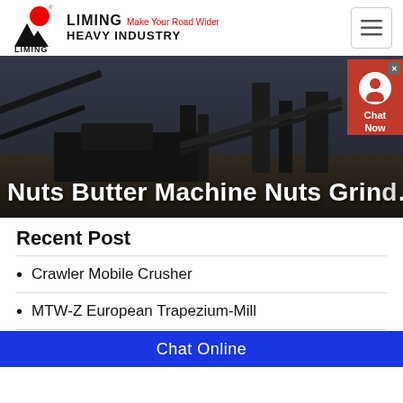[Figure (logo): Liming Heavy Industry logo with red circle and black mountain/triangle shapes, text LIMING Make Your Road Wider HEAVY INDUSTRY]
[Figure (photo): Industrial mining/crushing plant machinery at dusk with conveyor belts and silos in background]
Nuts Butter Machine Nuts Grind…
Recent Post
Crawler Mobile Crusher
MTW-Z European Trapezium-Mill
K Series Mobile Crushing Plant
Chat Online